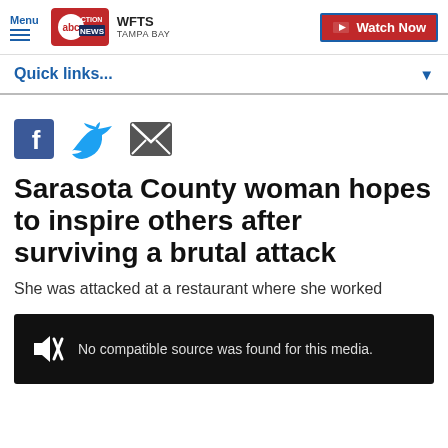Menu | abc ACTION NEWS WFTS TAMPA BAY | Watch Now
Quick links...
[Figure (other): Social share icons: Facebook, Twitter, Email]
Sarasota County woman hopes to inspire others after surviving a brutal attack
She was attacked at a restaurant where she worked
[Figure (other): Video player showing: No compatible source was found for this media.]